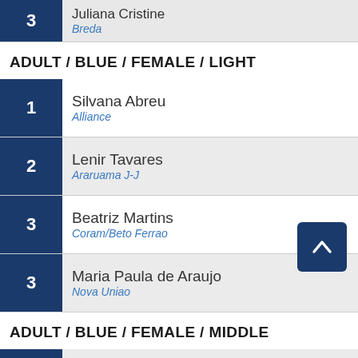3 — Juliana Cristine / Breda
ADULT / BLUE / FEMALE / LIGHT
1 — Silvana Abreu / Alliance
2 — Lenir Tavares / Araruama J-J
3 — Beatriz Martins / Coram/Beto Ferrao
3 — Maria Paula de Araujo / Nova Uniao
ADULT / BLUE / FEMALE / MIDDLE
1 — Karina Gazano / Cia Paulista